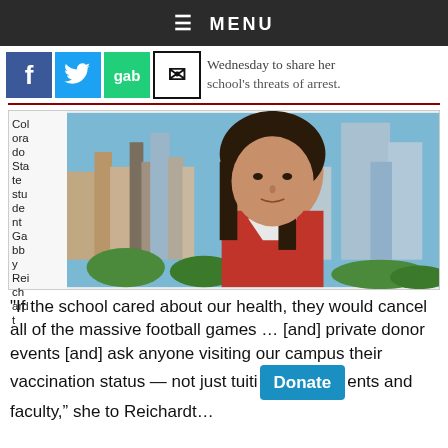≡ MENU
[Figure (screenshot): Social media sharing icons: Facebook (blue), Twitter (blue bird), Gab (green), Email (envelope). Partial headline text visible: 'Wednesday to share her school's threats of arrest.']
[Figure (photo): Colorado State student Gabby Reichardt in a red jacket, shown in a video screenshot with a city skyline background (Denver). Her name appears as a vertical caption on the left side.]
"If the school cared about our health, they would cancel all of the massive football games … [and] private donor events [and] ask anyone visiting our campus their vaccination status — not just tuition [paying] students and faculty," she told Reichardt…